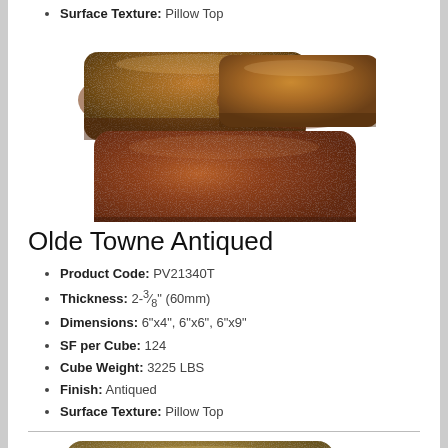Surface Texture: Pillow Top
[Figure (photo): Three rustic reddish-brown antiqued paving stones with pillow top texture, arranged in a cluster against a white background.]
Olde Towne Antiqued
Product Code: PV21340T
Thickness: 2-3/8" (60mm)
Dimensions: 6"x4", 6"x6", 6"x9"
SF per Cube: 124
Cube Weight: 3225 LBS
Finish: Antiqued
Surface Texture: Pillow Top
[Figure (photo): A single tan/beige antiqued paving stone with pillow top texture against a white background, partially cropped at bottom.]